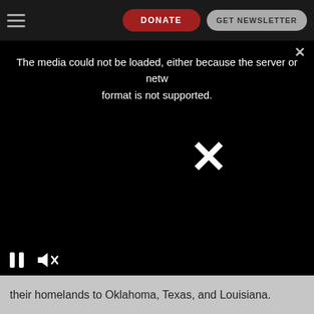DONATE   GET NEWSLETTER
[Figure (screenshot): Video player error screen on black background showing message: 'The media could not be loaded, either because the server or network failed or because the format is not supported.' with a large X icon in the center and pause/mute controls at the bottom left.]
their homelands to Oklahoma, Texas, and Louisiana.